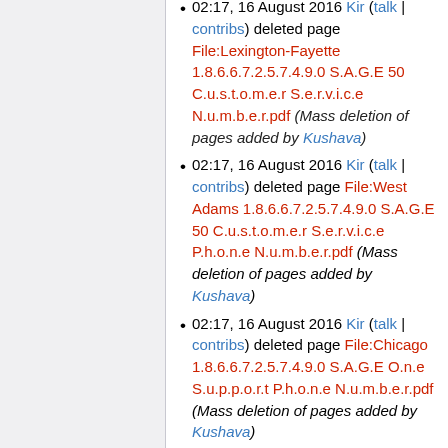02:17, 16 August 2016 Kir (talk | contribs) deleted page File:Lexington-Fayette 1.8.6.6.7.2.5.7.4.9.0 S.A.G.E 50 C.u.s.t.o.m.e.r S.e.r.v.i.c.e N.u.m.b.e.r.pdf (Mass deletion of pages added by Kushava)
02:17, 16 August 2016 Kir (talk | contribs) deleted page File:West Adams 1.8.6.6.7.2.5.7.4.9.0 S.A.G.E 50 C.u.s.t.o.m.e.r S.e.r.v.i.c.e P.h.o.n.e N.u.m.b.e.r.pdf (Mass deletion of pages added by Kushava)
02:17, 16 August 2016 Kir (talk | contribs) deleted page File:Chicago 1.8.6.6.7.2.5.7.4.9.0 S.A.G.E O.n.e S.u.p.p.o.r.t P.h.o.n.e N.u.m.b.e.r.pdf (Mass deletion of pages added by Kushava)
02:17, 16 August 2016 Kir (talk |